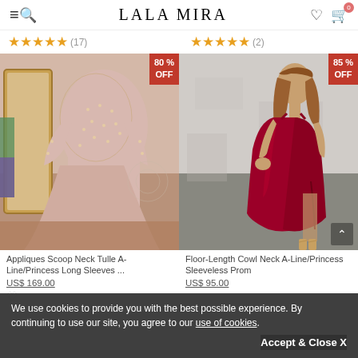LALA MIRA
★★★★★ (17)
★★★★★ (2)
[Figure (photo): Pink beaded long-sleeve Tulle A-Line/Princess gown with 80% OFF badge]
[Figure (photo): Red satin sleeveless cowl neck prom dress with 85% OFF badge]
Appliques Scoop Neck Tulle A-Line/Princess Long Sleeves ...
Floor-Length Cowl Neck A-Line/Princess Sleeveless Prom
US$ 169.00
US$ 95.00
We use cookies to provide you with the best possible experience. By continuing to use our site, you agree to our use of cookies.
Accept & Close X